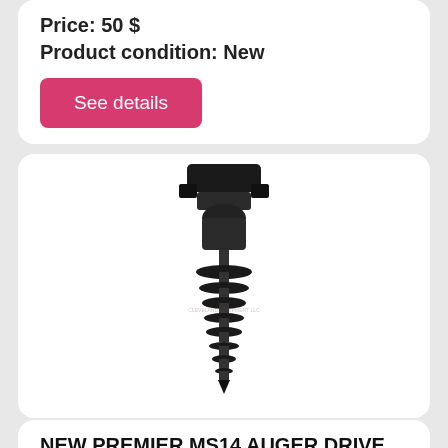Price: 50 $
Product condition: New
See details
[Figure (photo): Photo of a NEW PREMIER MS14 Auger Drive Attachment for Bobcat MT8 — a long spiral auger drill bit with a hydraulic drive motor head at the top, shown on white background with a watermark reading CLEVELAND EQUIPMENT LLC]
NEW PREMIER MS14 AUGER DRIVE ATTACHMENT Bobcat MT8
Designed for all-day playthe little ones will yabangbang e-generator dental led fiber